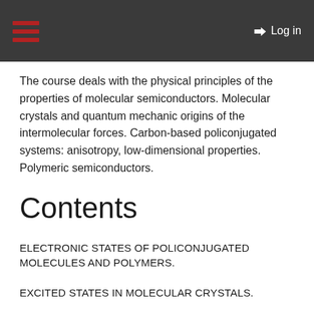Log in
The course deals with the physical principles of the properties of molecular semiconductors. Molecular crystals and quantum mechanic origins of the intermolecular forces. Carbon-based policonjugated systems: anisotropy, low-dimensional properties. Polymeric semiconductors.
Contents
ELECTRONIC STATES OF POLICONJUGATED MOLECULES AND POLYMERS.
EXCITED STATES IN MOLECULAR CRYSTALS.
ELECTROLUMINESCENCE AND LED DEVICES.
ORGANIC PHOTOVOLTAIC CELLS.
MOLECULAR ELECTRONICS AND PHOTONICS.